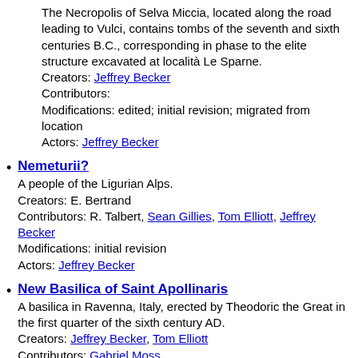The Necropolis of Selva Miccia, located along the road leading to Vulci, contains tombs of the seventh and sixth centuries B.C., corresponding in phase to the elite structure excavated at località Le Sparne. Creators: Jeffrey Becker Contributors: Modifications: edited; initial revision; migrated from location Actors: Jeffrey Becker
Nemeturii? — A people of the Ligurian Alps. Creators: E. Bertrand Contributors: R. Talbert, Sean Gillies, Tom Elliott, Jeffrey Becker Modifications: initial revision Actors: Jeffrey Becker
New Basilica of Saint Apollinaris — A basilica in Ravenna, Italy, erected by Theodoric the Great in the first quarter of the sixth century AD. Creators: Jeffrey Becker, Tom Elliott Contributors: Gabriel Moss Modifications: changed cnxn type Actors: Jeffrey Becker